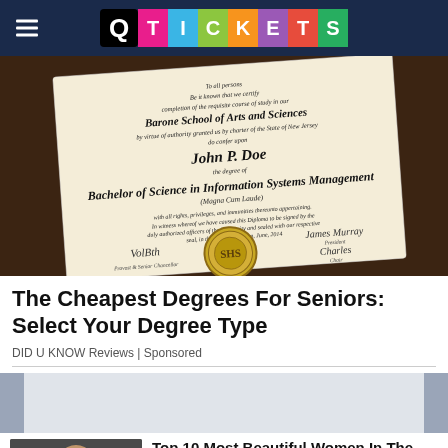Q TICKETS
[Figure (photo): A diploma on a dark background - Bachelor of Science in Information Systems Management from a school of Arts and Sciences, with a gold seal and signatures.]
The Cheapest Degrees For Seniors: Select Your Degree Type
DID U KNOW Reviews | Sponsored
[Figure (photo): A woman in a black dress at what appears to be a formal event]
Top 10 Most Beautiful Women In The world! BuzzDestination